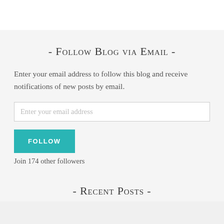- Follow Blog via Email -
Enter your email address to follow this blog and receive notifications of new posts by email.
Enter your email address
FOLLOW
Join 174 other followers
- Recent Posts -